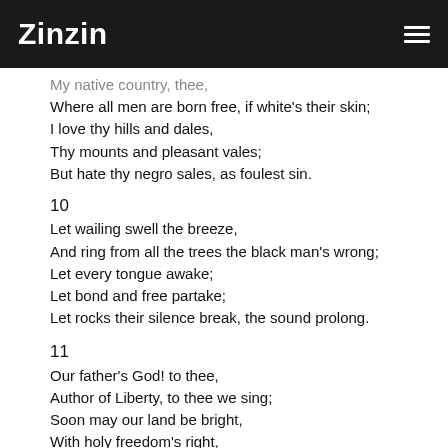Zinzin
My native country, thee,
Where all men are born free, if white's their skin;
I love thy hills and dales,
Thy mounts and pleasant vales;
But hate thy negro sales, as foulest sin.
10
Let wailing swell the breeze,
And ring from all the trees the black man's wrong;
Let every tongue awake;
Let bond and free partake;
Let rocks their silence break, the sound prolong.
11
Our father's God! to thee,
Author of Liberty, to thee we sing;
Soon may our land be bright,
With holy freedom's right,
Protect us by thy might, Great God, our King.
12
It comes, the joyful day,
When tyranny's proud sway, stern as the grave,
Shall to the ground be hurl'd,